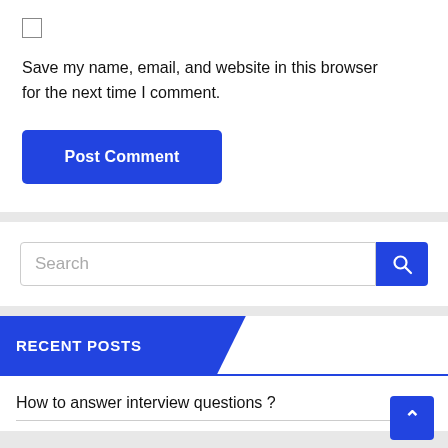Save my name, email, and website in this browser for the next time I comment.
Post Comment
Search
RECENT POSTS
How to answer interview questions ?